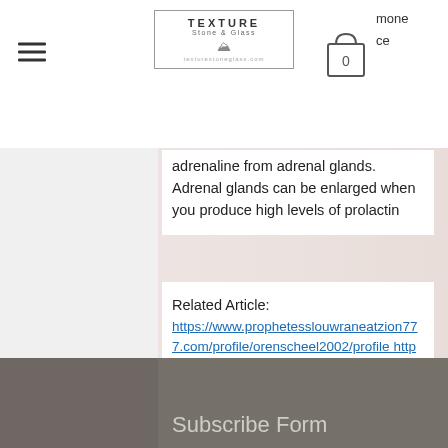[Figure (screenshot): Website navigation bar with hamburger menu icon on left, Texture Stone & Glass logo in center, and shopping cart icon with 0 on right. Partial text 'mone' and 'ce' visible at top right.]
adrenaline from adrenal glands. Adrenal glands can be enlarged when you produce high levels of prolactin
Related Article: https://www.prophetesslouwraneatzion777.com/profile/orenscheel2002/profile https://zh.travel-queens.com/profile/jaimeoatney1986/profile https://www.briayoungbasketball.com/profile/iantrifero1992/profile https://support.masterspace.co.ke/community/profile/gsarms19912463/
Subscribe Form